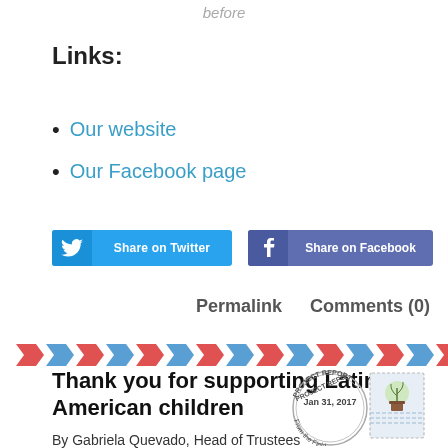before
Links:
Our website
Our Facebook page
[Figure (other): Share on Twitter and Share on Facebook buttons]
Permalink   Comments (0)
[Figure (other): Airmail decorative strip with red and blue chevrons]
Thank you for supporting Latin American children
[Figure (other): Project Report stamp Jan 31, 2017 From the Field with seedling stamp illustration]
By Gabriela Quevado, Head of Trustees